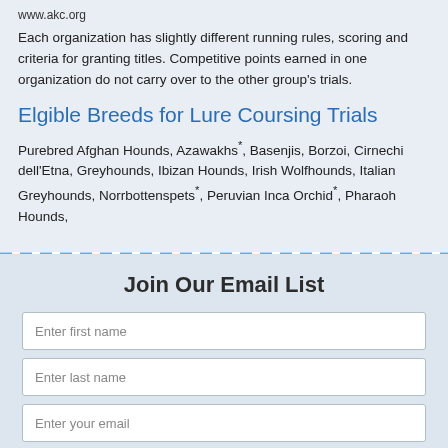www.akc.org
Each organization has slightly different running rules, scoring and criteria for granting titles. Competitive points earned in one organization do not carry over to the other group's trials.
Elgible Breeds for Lure Coursing Trials
Purebred Afghan Hounds, Azawakhs*, Basenjis, Borzoi, Cirnechi dell'Etna, Greyhounds, Ibizan Hounds, Irish Wolfhounds, Italian Greyhounds, Norrbottenspets*, Peruvian Inca Orchid*, Pharaoh Hounds,
Join Our Email List
Enter first name
Enter last name
Enter your email
Submit